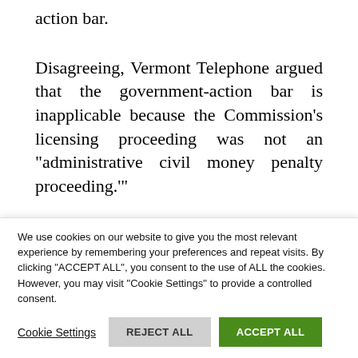action bar.
Disagreeing, Vermont Telephone argued that the government-action bar is inapplicable because the Commission’s licensing proceeding was not an “administrative civil money penalty proceeding.’’
The FCA nowhere defines the phrase “administrative civil money penalty proceeding.”
The defendant and the D.C. Circuit off—
We use cookies on our website to give you the most relevant experience by remembering your preferences and repeat visits. By clicking “ACCEPT ALL”, you consent to the use of ALL the cookies. However, you may visit “Cookie Settings” to provide a controlled consent.
Cookie Settings | REJECT ALL | ACCEPT ALL